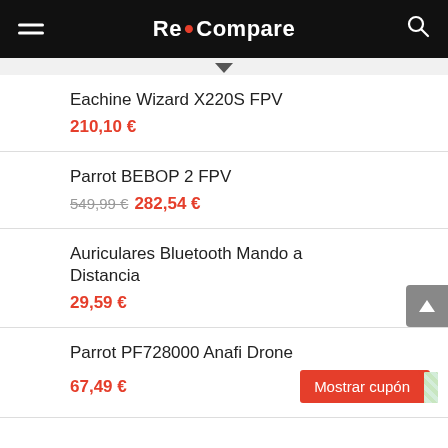Re•Compare
Eachine Wizard X220S FPV
210,10 €
Parrot BEBOP 2 FPV
549,99 € 282,54 €
Auriculares Bluetooth Mando a Distancia
29,59 €
Parrot PF728000 Anafi Drone
67,49 €